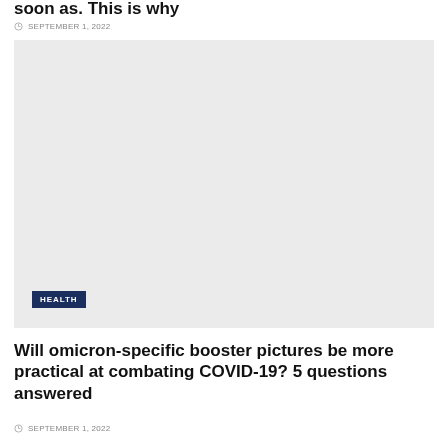soon as. This is why
SEPTEMBER 1, 2022
[Figure (photo): Large light gray placeholder image with a HEALTH category badge overlaid at the bottom left]
Will omicron-specific booster pictures be more practical at combating COVID-19? 5 questions answered
SEPTEMBER 1, 2022